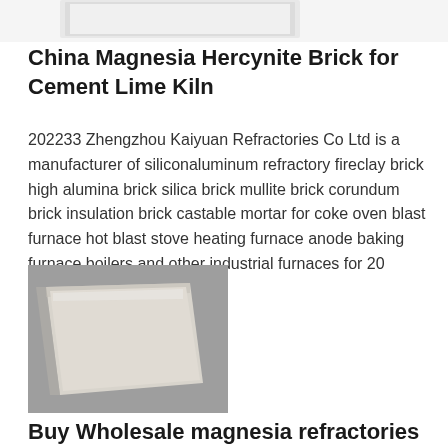[Figure (photo): Partial view of a white refractory brick product at top of page]
China Magnesia Hercynite Brick for Cement Lime Kiln
202233 Zhengzhou Kaiyuan Refractories Co Ltd is a manufacturer of siliconaluminum refractory fireclay brick high alumina brick silica brick mullite brick corundum brick insulation brick castable mortar for coke oven blast furnace hot blast stove heating furnace anode baking furnace boilers and other industrial furnaces for 20 years loed in Henan China
[Figure (photo): Photo of a white square magnesia refractory fire brick on a gray background]
Buy Wholesale magnesia refractories fire brick At Great